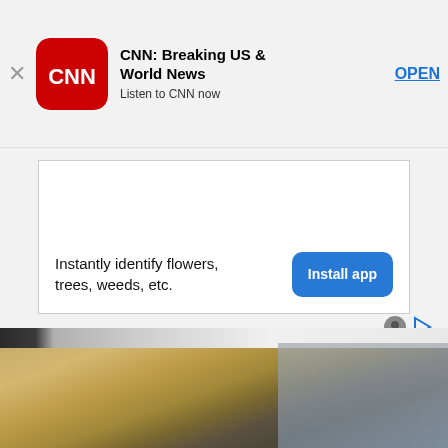[Figure (screenshot): CNN app banner with close button (X), red CNN logo, app name 'CNN: Breaking US & World News', subtitle 'Listen to CNN now', and OPEN link button]
[Figure (screenshot): Advertisement area with white background, text 'Instantly identify flowers, trees, weeds, etc.' and blue 'Install app' button on the right]
[Figure (photo): Partial photo of a blonde woman inside what appears to be an airplane cabin, visible from shoulders up, looking sideways]